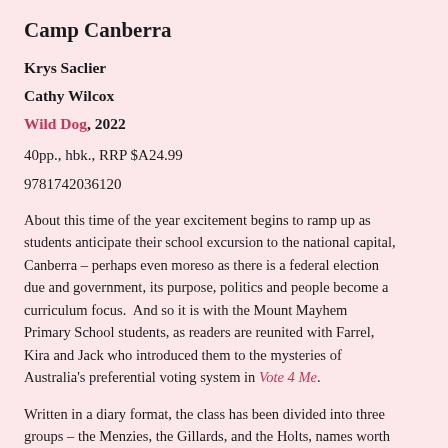Camp Canberra
Krys Saclier
Cathy Wilcox
Wild Dog, 2022
40pp., hbk., RRP $A24.99
9781742036120
About this time of the year excitement begins to ramp up as students anticipate their school excursion to the national capital, Canberra – perhaps even moreso as there is a federal election due and government, its purpose, politics and people become a curriculum focus.  And so it is with the Mount Mayhem Primary School students, as readers are reunited with Farrel, Kira and Jack who introduced them to the mysteries of Australia's preferential voting system in Vote 4 Me.
Written in a diary format, the class has been divided into three groups – the Menzies, the Gillards, and the Holts, names worth investigating in themselves – and each visits a number of Canberra's attractions including